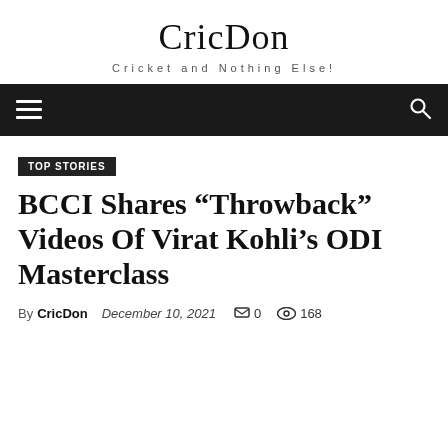CricDon — Cricket and Nothing Else!
TOP STORIES
BCCI Shares “Throwback” Videos Of Virat Kohli’s ODI Masterclass
By CricDon  December 10, 2021  0  168